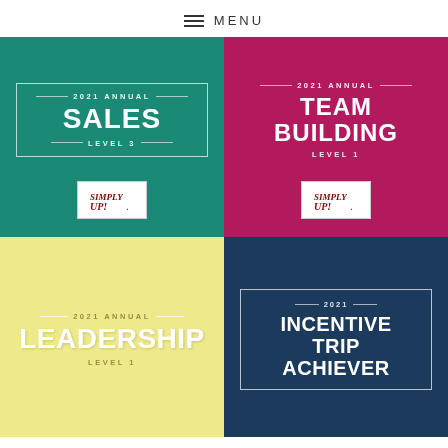☰ MENU
[Figure (infographic): 2021 Annual Sales Level 3 card on teal background with Simply Up! logo]
[Figure (infographic): 2021 Annual Team Building Level 1 card on crimson background with Simply Up! logo]
[Figure (infographic): 2021 Annual Leadership Level 1 card on yellow background]
[Figure (infographic): 2021 Incentive Trip Achiever card on navy background]